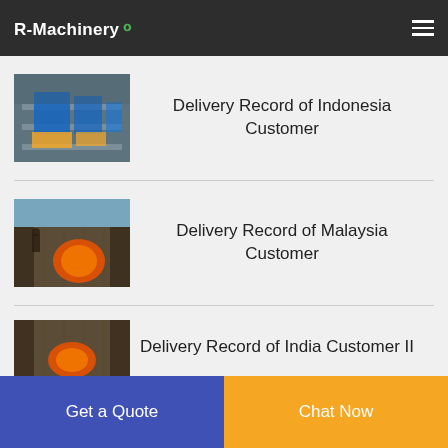R-Machinery
[Figure (photo): Industrial machinery wrapped in blue plastic in a warehouse]
Delivery Record of Indonesia Customer
[Figure (photo): Orange industrial equipment being loaded into a shipping container]
Delivery Record of Malaysia Customer
[Figure (photo): Orange industrial equipment in a shipping container]
Delivery Record of India Customer II
Get a Quote
Chat Now